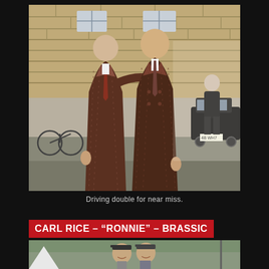[Figure (photo): Two men in brown pinstripe suits posing together in front of a stone building with bicycles and a car visible. A third person in dark clothing is visible in the background.]
Driving double for near miss.
CARL RICE – “RONNIE” – BRASSIC
[Figure (photo): Two men wearing baseball caps smiling together outdoors with trees in the background.]